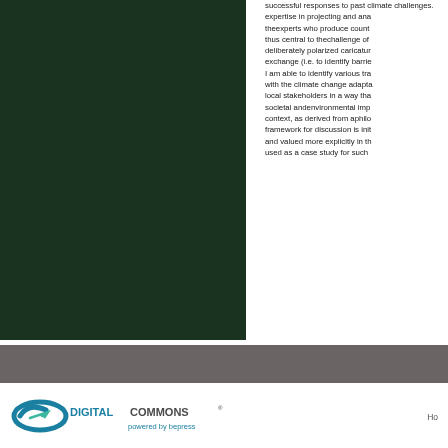[Figure (photo): Dark green/black rectangular image occupying the left portion of the page]
successful responses to past climate challenges. expertise in projecting and analyzing climate change, the experts who produce country-level projections are thus central to the challenge of avoiding the kind of deliberately polarized caricatures of science-policy exchange (i.e. to identify barriers and facilitators). I am able to identify various transdisciplinary aspects with the climate change adaptation challenge: engaging local stakeholders in a way that accounts for broader societal and environmental implications in a place-based context, as derived from a philosophical standpoint. This framework for discussion is initiated so that it can be and valued more explicitly in the literature. This work is used as a case study for such
[Figure (logo): Digital Commons powered by bepress logo]
Ho